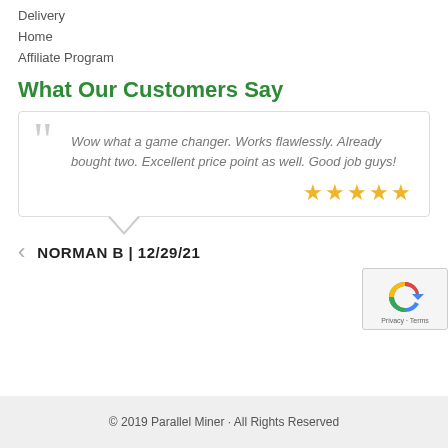Delivery
Home
Affiliate Program
What Our Customers Say
Wow what a game changer. Works flawlessly. Already bought two. Excellent price point as well. Good job guys!
★★★★★
NORMAN B | 12/29/21
© 2019 Parallel Miner · All Rights Reserved